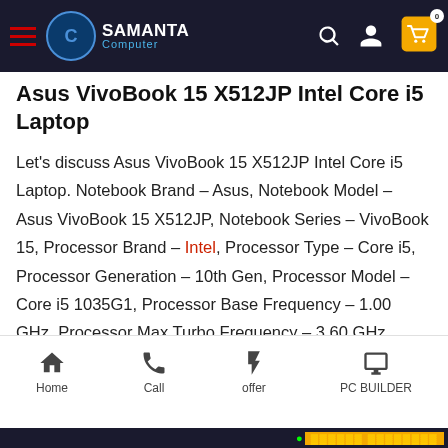Samanta Computer - navigation header with logo, search, user, and cart icons
Asus VivoBook 15 X512JP Intel Core i5 Laptop
Let's discuss Asus VivoBook 15 X512JP Intel Core i5 Laptop. Notebook Brand – Asus, Notebook Model – Asus VivoBook 15 X512JP, Notebook Series – VivoBook 15, Processor Brand – Intel, Processor Type – Core i5, Processor Generation – 10th Gen, Processor Model – Core i5 1035G1, Processor Base Frequency – 1.00 GHz, Processor Max Turbo Frequency – 3.60 GHz, Processor Core – 4, Processor Thread – 8, Processor
Home | Call | offer | PC BUILDER